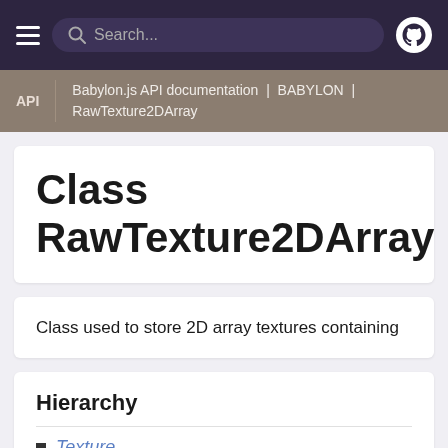Search...
API | Babylon.js API documentation | BABYLON | RawTexture2DArray
Class RawTexture2DArray
Class used to store 2D array textures containing
Hierarchy
Texture